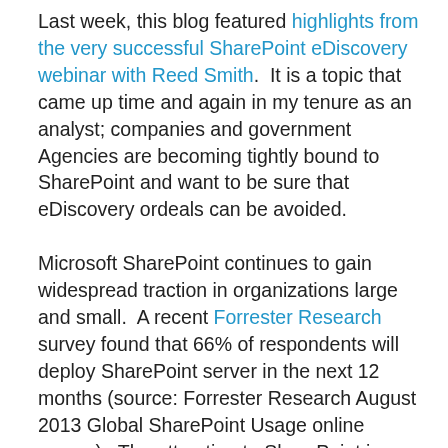Last week, this blog featured highlights from the very successful SharePoint eDiscovery webinar with Reed Smith. It is a topic that came up time and again in my tenure as an analyst; companies and government Agencies are becoming tightly bound to SharePoint and want to be sure that eDiscovery ordeals can be avoided.

Microsoft SharePoint continues to gain widespread traction in organizations large and small. A recent Forrester Research survey found that 66% of respondents will deploy SharePoint server in the next 12 months (source: Forrester Research August 2013 Global SharePoint Usage online survey). The attraction to SharePoint is obvious – the system creates business benefits: enabling collaboration in efficient ways; providing ways to track versions of documents edited by multiple parties; allowing non-technical business people to apply